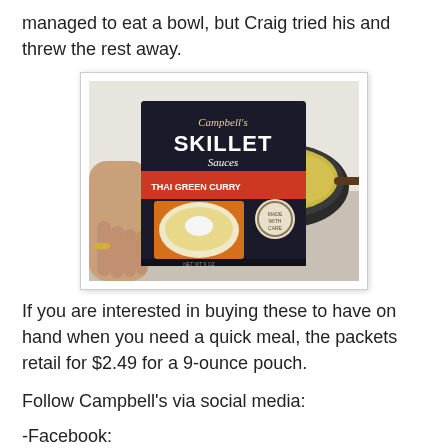managed to eat a bowl, but Craig tried his and threw the rest away.
[Figure (photo): Photo of a hand holding a Campbell's Skillet Sauces Thai Green Curry packet box in front of a skillet pan with green curry sauce cooking in it.]
If you are interested in buying these to have on hand when you need a quick meal, the packets retail for $2.49 for a 9-ounce pouch.
Follow Campbell's via social media:
-Facebook: http://www.facebook.com/campbell/Sauces
-Website: http://www.CampbellSauces.com
-Twitter: @CampbellSoupCo